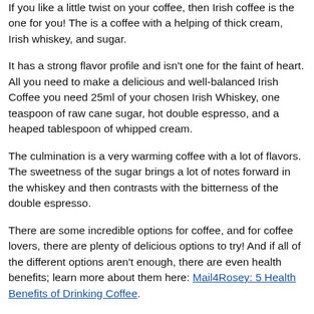If you like a little twist on your coffee, then Irish coffee is the one for you! The is a coffee with a helping of thick cream, Irish whiskey, and sugar.
It has a strong flavor profile and isn't one for the faint of heart. All you need to make a delicious and well-balanced Irish Coffee you need 25ml of your chosen Irish Whiskey, one teaspoon of raw cane sugar, hot double espresso, and a heaped tablespoon of whipped cream.
The culmination is a very warming coffee with a lot of flavors. The sweetness of the sugar brings a lot of notes forward in the whiskey and then contrasts with the bitterness of the double espresso.
There are some incredible options for coffee, and for coffee lovers, there are plenty of delicious options to try! And if all of the different options aren't enough, there are even health benefits; learn more about them here: Mail4Rosey: 5 Health Benefits of Drinking Coffee.